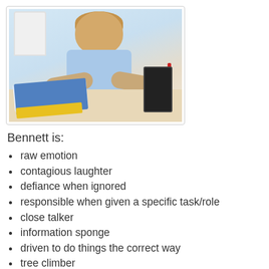[Figure (photo): A young boy in a light blue school polo shirt sits at a table, focused on assembling a black robot/construction toy, with a colorful instruction booklet open in front of him.]
Bennett is:
raw emotion
contagious laughter
defiance when ignored
responsible when given a specific task/role
close talker
information sponge
driven to do things the correct way
tree climber